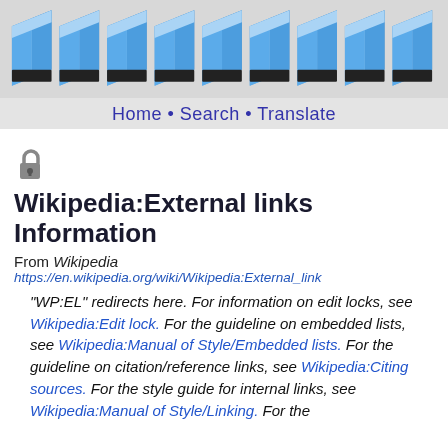[Figure (illustration): Row of blue 3D book/notebook icons on a gray background header]
Home • Search • Translate
Wikipedia:External links Information
From Wikipedia
https://en.wikipedia.org/wiki/Wikipedia:External_link
"WP:EL" redirects here. For information on edit locks, see Wikipedia:Edit lock. For the guideline on embedded lists, see Wikipedia:Manual of Style/Embedded lists. For the guideline on citation/reference links, see Wikipedia:Citing sources. For the style guide for internal links, see Wikipedia:Manual of Style/Linking. For the